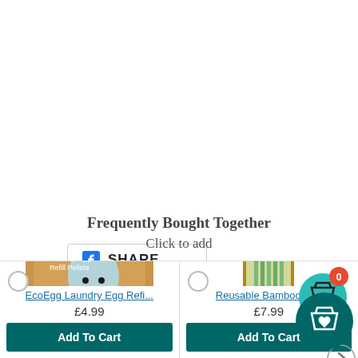[Figure (other): Facebook Share button with Facebook logo icon and SHARE text]
Frequently Bought Together
Click to add
[Figure (photo): EcoEgg Laundry Egg Refill Pellets product box image]
EcoEgg Laundry Egg Refi...
£4.99
Add To Cart
[Figure (photo): Reusable Bamboo Kit product cylindrical container image]
Reusable Bamboo Ki...
£7.99
Add To Cart
[Figure (other): Shopping cart icon with orange badge showing 0]
[Figure (other): Next arrow navigation button]
[Figure (other): Wishlist floating action button with shopping bag and heart icon]